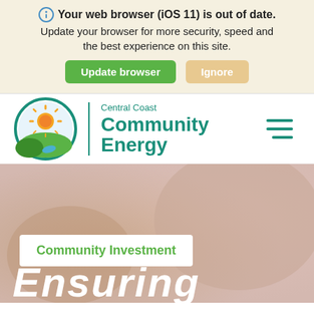Your web browser (iOS 11) is out of date. Update your browser for more security, speed and the best experience on this site.
Update browser | Ignore
[Figure (logo): Central Coast Community Energy logo: circular design with sun, landscape, and teal border, with text 'Central Coast Community Energy' in teal]
Community Investment
Ensuring